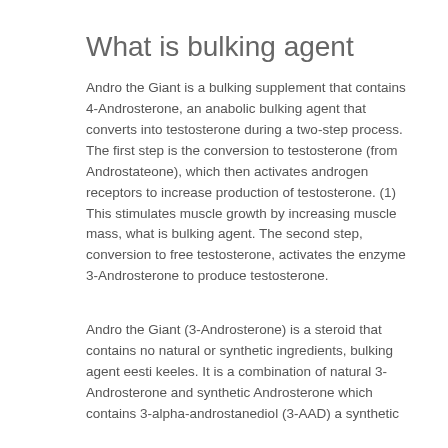What is bulking agent
Andro the Giant is a bulking supplement that contains 4-Androsterone, an anabolic bulking agent that converts into testosterone during a two-step process. The first step is the conversion to testosterone (from Androstateone), which then activates androgen receptors to increase production of testosterone. (1) This stimulates muscle growth by increasing muscle mass, what is bulking agent. The second step, conversion to free testosterone, activates the enzyme 3-Androsterone to produce testosterone.
Andro the Giant (3-Androsterone) is a steroid that contains no natural or synthetic ingredients, bulking agent eesti keeles. It is a combination of natural 3-Androsterone and synthetic Androsterone which contains 3-alpha-androstanediol (3-AAD) a synthetic